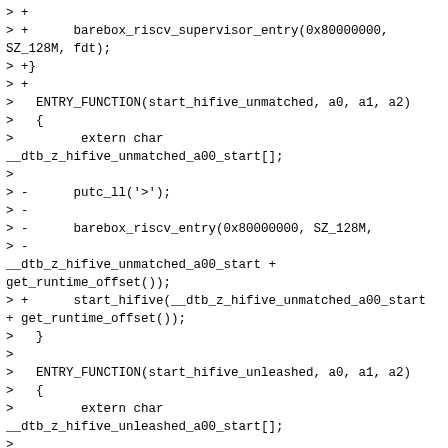> +
> +      barebox_riscv_supervisor_entry(0x80000000,
SZ_128M, fdt);
> +}
> +
>   ENTRY_FUNCTION(start_hifive_unmatched, a0, a1, a2)
>   {
>         extern char
__dtb_z_hifive_unmatched_a00_start[];
>
> -      putc_ll('>');
> -
> -      barebox_riscv_entry(0x80000000, SZ_128M,
> -
__dtb_z_hifive_unmatched_a00_start +
get_runtime_offset());
> +      start_hifive(__dtb_z_hifive_unmatched_a00_start
+ get_runtime_offset());
>   }
>
>   ENTRY_FUNCTION(start_hifive_unleashed, a0, a1, a2)
>   {
>         extern char
__dtb_z_hifive_unleashed_a00_start[];
>
> -      putc_ll('>');
> -
> -      barebox_riscv_entry(0x80000000, SZ_128M,
> -
__dtb_z_hifive_unleashed_a00_start +